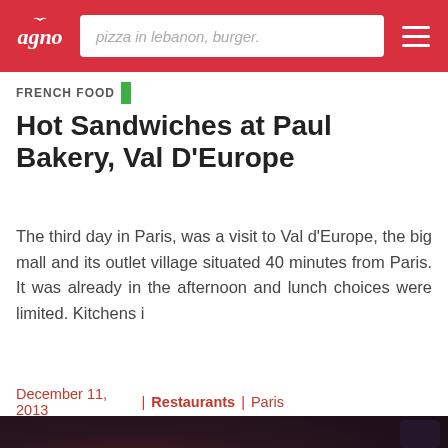pizza in lebanon, burger.
FRENCH FOOD
Hot Sandwiches at Paul Bakery, Val D'Europe
The third day in Paris, was a visit to Val d'Europe, the big mall and its outlet village situated 40 minutes from Paris. It was already in the afternoon and lunch choices were limited. Kitchens i
December 11, 2013 | Restaurants | Paris
[Figure (photo): Close-up photo of hot sandwiches or food items, dark moody lighting with warm tones showing what appears to be bread and meat items on a surface]